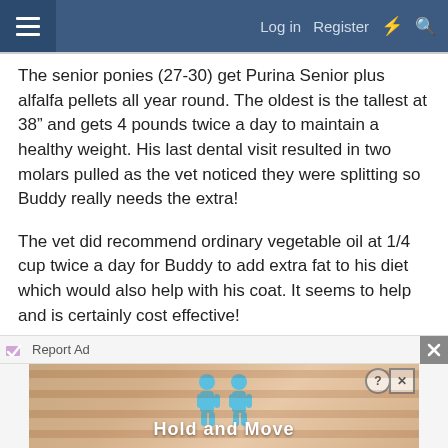≡  Log in  Register  ⚡  🔍
The senior ponies (27-30) get Purina Senior plus alfalfa pellets all year round. The oldest is the tallest at 38" and gets 4 pounds twice a day to maintain a healthy weight. His last dental visit resulted in two molars pulled as the vet noticed they were splitting so Buddy really needs the extra!
The vet did recommend ordinary vegetable oil at 1/4 cup twice a day for Buddy to add extra fat to his diet which would also help with his coat. It seems to help and is certainly cost effective!
Probably more info than you need, Katrina! 😁. Good for you adopting and giving your little ones a better life!
[Figure (screenshot): Ad banner at bottom: 'Report Ad' strip with close button, and a 'Hold and Move' advertisement with cartoon figures on a wooden background.]